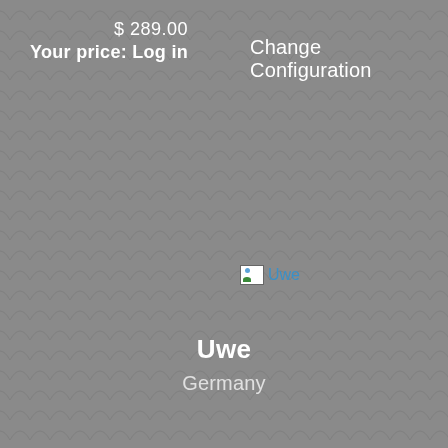$ 289.00
Your price: Log in
Change Configuration
[Figure (other): Broken image placeholder with small icon and alt text 'Uwe' in blue]
Uwe
Germany